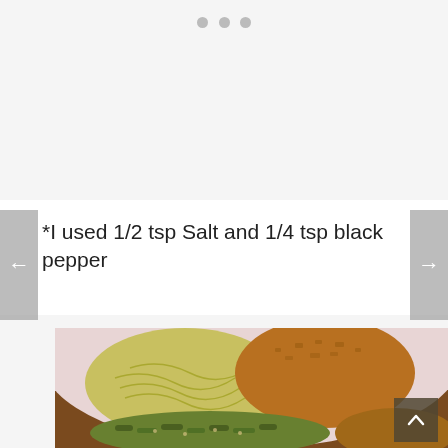[Figure (other): Three gray dot indicators at top of page (carousel/slideshow navigation dots)]
*I used 1/2 tsp Salt and 1/4 tsp black pepper
[Figure (photo): Close-up photo of a plate with pasta (noodles), fried breaded food, and green beans with seasoning on a white plate with a brown/wooden rim visible]